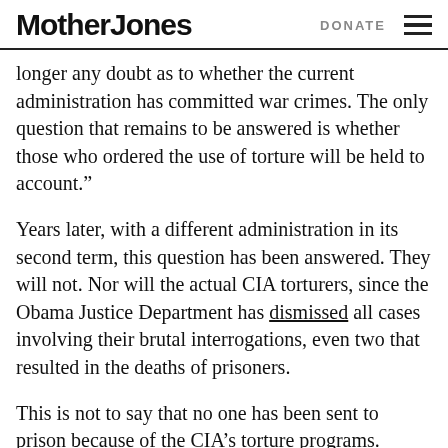Mother Jones | DONATE
longer any doubt as to whether the current administration has committed war crimes. The only question that remains to be answered is whether those who ordered the use of torture will be held to account.”
Years later, with a different administration in its second term, this question has been answered. They will not. Nor will the actual CIA torturers, since the Obama Justice Department has dismissed all cases involving their brutal interrogations, even two that resulted in the deaths of prisoners.
This is not to say that no one has been sent to prison because of the CIA’s torture programs.